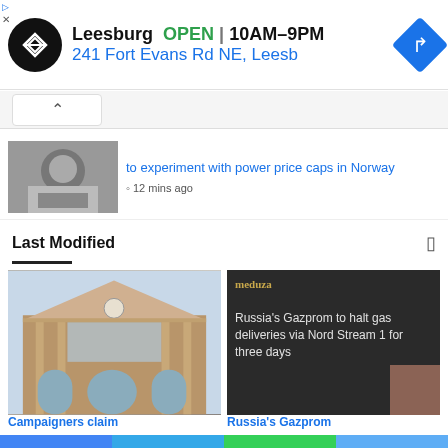[Figure (screenshot): Advertisement banner for a store in Leesburg showing logo, OPEN status, hours 10AM-9PM, address 241 Fort Evans Rd NE, Leesb, and navigation icon]
to experiment with power price caps in Norway
12 mins ago
Last Modified
[Figure (photo): Photo of a building with classical architecture, brick facade, and arched windows]
[Figure (screenshot): Dark background card with Medusa logo in gold and text: Russia's Gazprom to halt gas deliveries via Nord Stream 1 for three days]
Campaigners claim
Russia's Gazprom